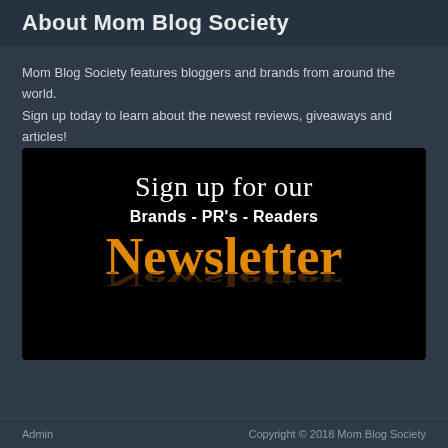About Mom Blog Society
Mom Blog Society features bloggers and brands from around the world. Sign up today to learn about the newest reviews, giveaways and articles!
[Figure (infographic): Newsletter signup banner with black background. Top text: 'Sign up for our' in white serif font. Middle text: 'Brands - PR's - Readers' in white bold. Large text: 'Newsletter' in orange with reflection effect below.]
Admin    Copyright © 2018 Mom Blog Society